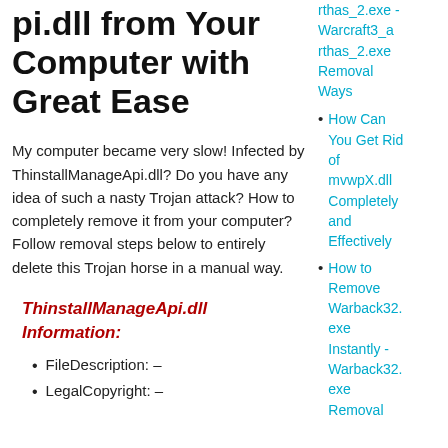pi.dll from Your Computer with Great Ease
My computer became very slow! Infected by ThinstallManageApi.dll? Do you have any idea of such a nasty Trojan attack? How to completely remove it from your computer? Follow removal steps below to entirely delete this Trojan horse in a manual way.
ThinstallManageApi.dll Information:
FileDescription: –
LegalCopyright: –
rthas_2.exe - Warcraft3_arthas_2.exe Removal Ways
How Can You Get Rid of mvwpX.dll Completely and Effectively
How to Remove Warback32.exe Instantly - Warback32.exe Removal